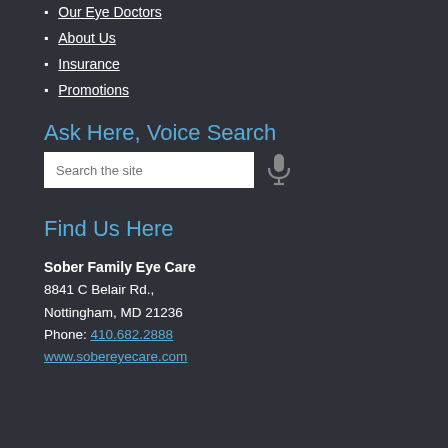Our Eye Doctors
About Us
Insurance
Promotions
Ask Here, Voice Search
Search the site
Find Us Here
Sober Family Eye Care
8841 C Belair Rd.,
Nottingham, MD 21236
Phone: 410.682.2888
www.sobereyecare.com